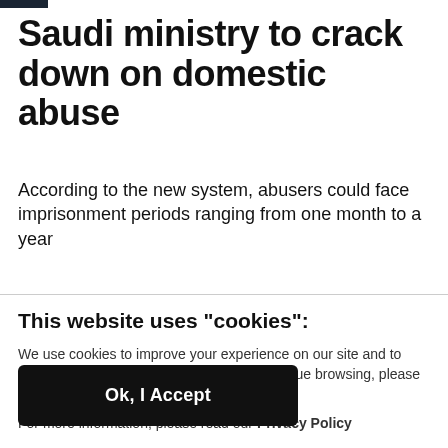Saudi ministry to crack down on domestic abuse
According to the new system, abusers could face imprisonment periods ranging from one month to a year
This website uses "cookies":
We use cookies to improve your experience on our site and to show you personalized advertising. To continue browsing, please click ‘OK, I Accept’.
For more information, please read our Privacy Policy
Ok, I Accept